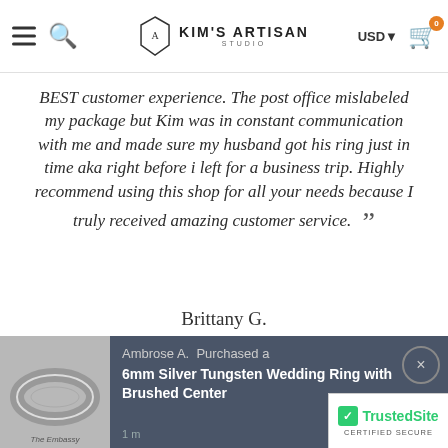Kim's Artisan Studio — navigation bar with USD currency and cart
BEST customer experience. The post office mislabeled my package but Kim was in constant communication with me and made sure my husband got his ring just in time aka right before i left for a business trip. Highly recommend using this shop for all your needs because I truly received amazing customer service.
Brittany G.
[Figure (other): Left and right navigation arrows for testimonial carousel]
[Figure (photo): Product notification popup: Ambrose A. Purchased a 6mm Silver Tungsten Wedding Ring with Brushed Center — 1m ago. Shows silver ring image.]
[Figure (logo): TrustedSite CERTIFIED SECURE badge]